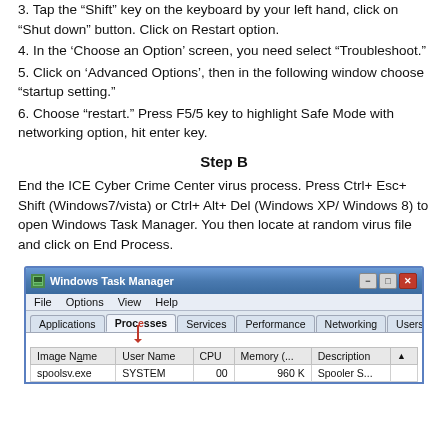3. Tap the “Shift” key on the keyboard by your left hand, click on “Shut down” button. Click on Restart option.
4. In the ‘Choose an Option’ screen, you need select “Troubleshoot.”
5. Click on ‘Advanced Options’, then in the following window choose “startup setting.”
6. Choose “restart.” Press F5/5 key to highlight Safe Mode with networking option, hit enter key.
Step B
End the ICE Cyber Crime Center virus process. Press Ctrl+ Esc+ Shift (Windows7/vista) or Ctrl+ Alt+ Del (Windows XP/ Windows 8) to open Windows Task Manager. You then locate at random virus file and click on End Process.
[Figure (screenshot): Windows Task Manager screenshot showing the Processes tab with columns: Image Name, User Name, CPU, Memory (...), Description. One visible row: spoolsv.exe, SYSTEM, 00, 960 K, Spooler S...]